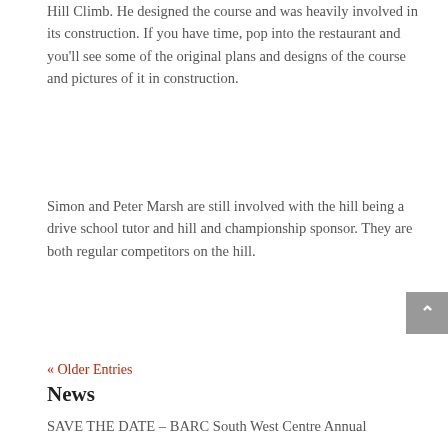Hill Climb. He designed the course and was heavily involved in its construction. If you have time, pop into the restaurant and you'll see some of the original plans and designs of the course and pictures of it in construction.
Simon and Peter Marsh are still involved with the hill being a drive school tutor and hill and championship sponsor. They are both regular competitors on the hill.
« Older Entries
News
SAVE THE DATE – BARC South West Centre Annual